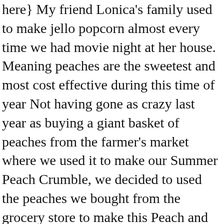here} My friend Lonica's family used to make jello popcorn almost every time we had movie night at her house. Meaning peaches are the sweetest and most cost effective during this time of year Not having gone as crazy last year as buying a giant basket of peaches from the farmer's market where we used it to make our Summer Peach Crumble, we decided to used the peaches we bought from the grocery store to make this Peach and Blueberry crumble as somehow we ended up … . https://www.youtube.com/watch?v=xJ636Y8N6E8, Kelly // The Pretty Bee: Cooking & Creating, How to Cook Jasmine Rice: Stovetop, Instant Pot & Slow Cooker. And good luck with the Spartan Race – it'll be a challenge, but one well worth it once you finish after pushing yourself to the limit. This is pretty much most of my favourite fruits all together in one pudding. I love